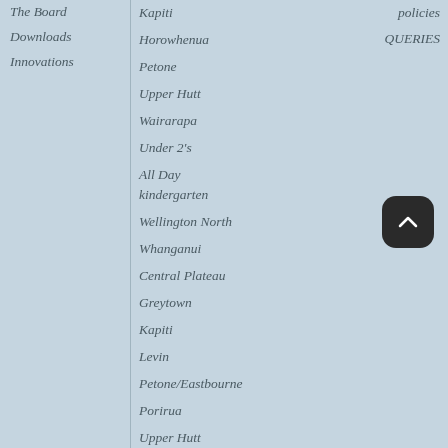The Board
Downloads
Innovations
Kapiti
Horowhenua
Petone
Upper Hutt
Wairarapa
Under 2's
All Day kindergarten
Wellington North
Whanganui
Central Plateau
Greytown
Kapiti
Levin
Petone/Eastbourne
Porirua
Upper Hutt
Wairarapa
Wellington
Wellington North
policies
QUERIES